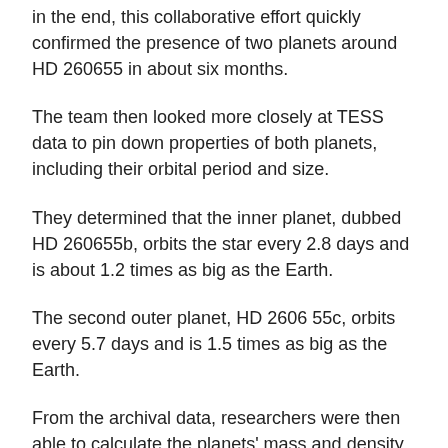in the end, this collaborative effort quickly confirmed the presence of two planets around HD 260655 in about six months.
The team then looked more closely at TESS data to pin down properties of both planets, including their orbital period and size.
They determined that the inner planet, dubbed HD 260655b, orbits the star every 2.8 days and is about 1.2 times as big as the Earth.
The second outer planet, HD 2606 55c, orbits every 5.7 days and is 1.5 times as big as the Earth.
From the archival data, researchers were then able to calculate the planets' mass and density.